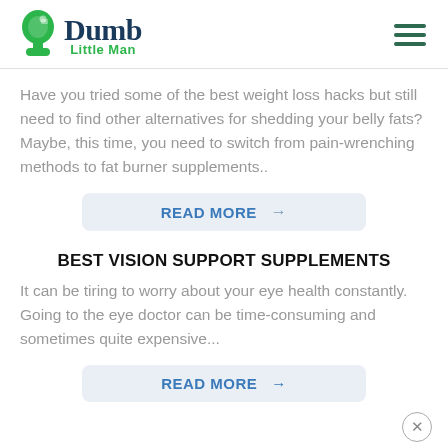Dumb Little Man
Have you tried some of the best weight loss hacks but still need to find other alternatives for shedding your belly fats? Maybe, this time, you need to switch from pain-wrenching methods to fat burner supplements..
READ MORE →
BEST VISION SUPPORT SUPPLEMENTS
It can be tiring to worry about your eye health constantly. Going to the eye doctor can be time-consuming and sometimes quite expensive...
READ MORE →